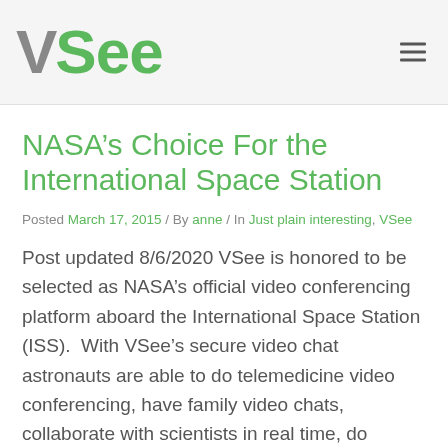VSee
NASA’s Choice For the International Space Station
Posted March 17, 2015 / By anne / In Just plain interesting, VSee
Post updated 8/6/2020 VSee is honored to be selected as NASA’s official video conferencing platform aboard the International Space Station (ISS).  With VSee’s secure video chat astronauts are able to do telemedicine video conferencing, have family video chats, collaborate with scientists in real time, do projects with school children, and…